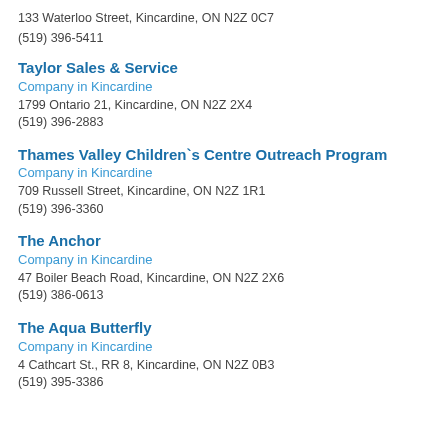133 Waterloo Street, Kincardine, ON N2Z 0C7
(519) 396-5411
Taylor Sales & Service
Company in Kincardine
1799 Ontario 21, Kincardine, ON N2Z 2X4
(519) 396-2883
Thames Valley Children`s Centre Outreach Program
Company in Kincardine
709 Russell Street, Kincardine, ON N2Z 1R1
(519) 396-3360
The Anchor
Company in Kincardine
47 Boiler Beach Road, Kincardine, ON N2Z 2X6
(519) 386-0613
The Aqua Butterfly
Company in Kincardine
4 Cathcart St., RR 8, Kincardine, ON N2Z 0B3
(519) 395-3386